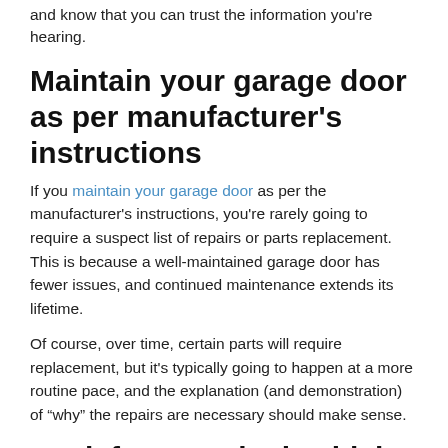and know that you can trust the information you're hearing.
Maintain your garage door as per manufacturer's instructions
If you maintain your garage door as per the manufacturer's instructions, you're rarely going to require a suspect list of repairs or parts replacement. This is because a well-maintained garage door has fewer issues, and continued maintenance extends its lifetime.
Of course, over time, certain parts will require replacement, but it's typically going to happen at a more routine pace, and the explanation (and demonstration) of “why” the repairs are necessary should make sense.
Look for a marked vehicle and